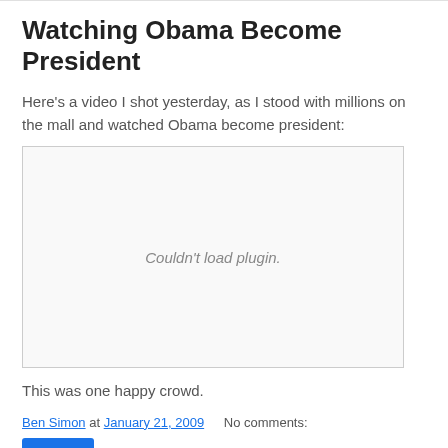Watching Obama Become President
Here's a video I shot yesterday, as I stood with millions on the mall and watched Obama become president:
[Figure (other): Embedded video plugin area showing 'Couldn't load plugin.']
This was one happy crowd.
Ben Simon at January 21, 2009    No comments:
Share